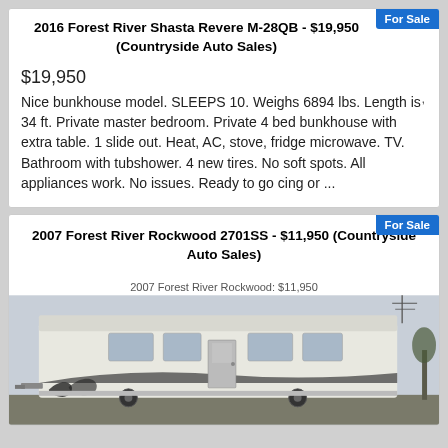2016 Forest River Shasta Revere M-28QB - $19,950 (Countryside Auto Sales)
$19,950
Nice bunkhouse model. SLEEPS 10. Weighs 6894 lbs. Length is 34 ft. Private master bedroom. Private 4 bed bunkhouse with extra table. 1 slide out. Heat, AC, stove, fridge microwave. TV. Bathroom with tubshower. 4 new tires. No soft spots. All appliances work. No issues. Ready to go cing or ...
2007 Forest River Rockwood 2701SS - $11,950 (Countryside Auto Sales)
2007 Forest River Rockwood: $11,950
[Figure (photo): White RV/travel trailer exterior photo, partial view showing the side and front of the unit against a light sky background.]